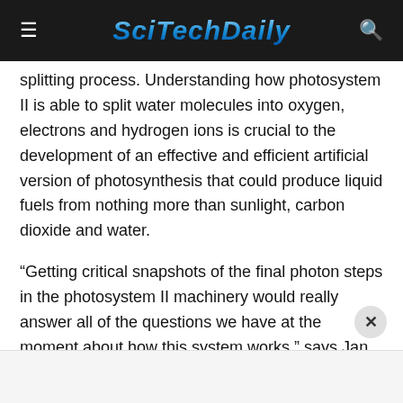SciTechDaily
splitting process. Understanding how photosystem II is able to split water molecules into oxygen, electrons and hydrogen ions is crucial to the development of an effective and efficient artificial version of photosynthesis that could produce liquid fuels from nothing more than sunlight, carbon dioxide and water.
“Getting critical snapshots of the final photon steps in the photosystem II machinery would really answer all of the questions we have at the moment about how this system works,” says Jan Kern, a chemist with Berkeley Lab’s Physical Biosciences Division and SLAC who is the first author of the Science paper.